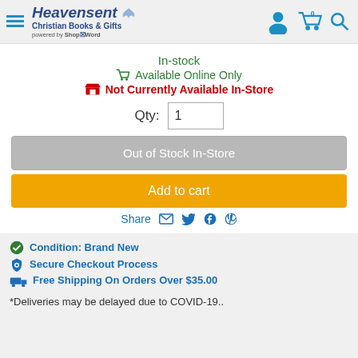Heavensent Christian Books & Gifts — powered by ShopTheWord
In-stock
Available Online Only
Not Currently Available In-Store
Qty: 1
Out of Stock In-Store
Add to cart
Share
Condition: Brand New
Secure Checkout Process
Free Shipping On Orders Over $35.00
*Deliveries may be delayed due to COVID-19..